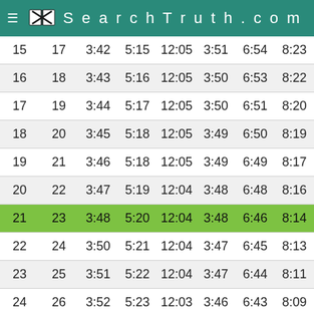SearchTruth.com
| 15 | 17 | 3:42 | 5:15 | 12:05 | 3:51 | 6:54 | 8:23 |
| 16 | 18 | 3:43 | 5:16 | 12:05 | 3:50 | 6:53 | 8:22 |
| 17 | 19 | 3:44 | 5:17 | 12:05 | 3:50 | 6:51 | 8:20 |
| 18 | 20 | 3:45 | 5:18 | 12:05 | 3:49 | 6:50 | 8:19 |
| 19 | 21 | 3:46 | 5:18 | 12:05 | 3:49 | 6:49 | 8:17 |
| 20 | 22 | 3:47 | 5:19 | 12:04 | 3:48 | 6:48 | 8:16 |
| 21 | 23 | 3:48 | 5:20 | 12:04 | 3:48 | 6:46 | 8:14 |
| 22 | 24 | 3:50 | 5:21 | 12:04 | 3:47 | 6:45 | 8:13 |
| 23 | 25 | 3:51 | 5:22 | 12:04 | 3:47 | 6:44 | 8:11 |
| 24 | 26 | 3:52 | 5:23 | 12:03 | 3:46 | 6:43 | 8:09 |
| 25 | 27 | 3:53 | 5:23 | 12:03 | 3:45 | 6:41 | 8:08 |